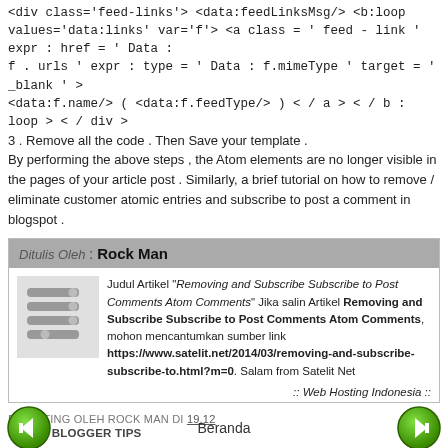<div class='feed-links'> <data:feedLinksMsg/> <b:loop values='data:links' var='f'> <a class = ' feed - link ' expr : href = ' Data : f . urls ' expr : type = ' Data : f.mimeType ' target = ' _blank ' > <data:f.name/> ( <data:f.feedType/> ) < / a > < / b : loop > < / div >
3 . Remove all the code . Then Save your template .
By performing the above steps , the Atom elements are no longer visible in the pages of your article post . Similarly, a brief tutorial on how to remove / eliminate customer atomic entries and subscribe to post a comment in blogspot .
[Figure (infographic): Author attribution box with header 'Ditulis Oleh : Rock Man', an icon image on the left, and article credit text with bold title, URL, and closing line ':: Web Hosting Indonesia ::']
DIPOSTING OLEH ROCK MAN DI 19.12
LABEL: BLOGGER TIPS
[Figure (illustration): Navigation row with left green back arrow button, 'Beranda' center text, and right green forward arrow button]